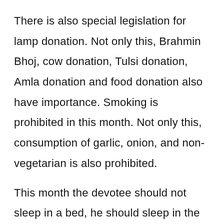There is also special legislation for lamp donation. Not only this, Brahmin Bhoj, cow donation, Tulsi donation, Amla donation and food donation also have importance. Smoking is prohibited in this month. Not only this, consumption of garlic, onion, and non-vegetarian is also prohibited.
This month the devotee should not sleep in a bed, he should sleep in the land. During this time, Sun worship is especially fruitful.